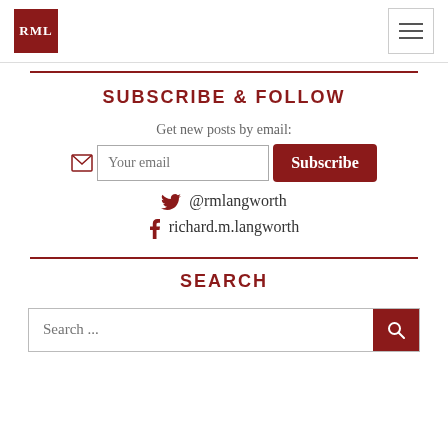RML
SUBSCRIBE & FOLLOW
Get new posts by email:
@rmlangworth
richard.m.langworth
SEARCH